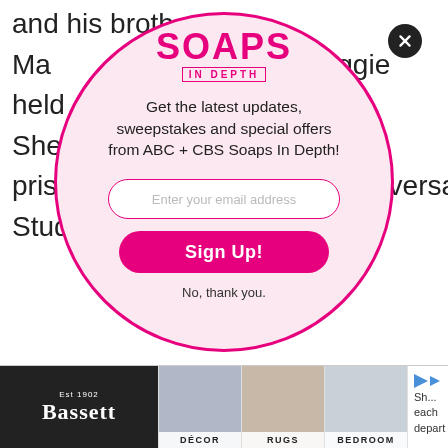and his brother, Ma[...] and Maggie held Sheila prison[...] Universal Studios H[...]
[Figure (other): Soaps In Depth email signup modal overlay — circular popup with pink border on light pink background. Contains 'SOAPS IN DEPTH' logo, tagline 'Get the latest updates, sweepstakes and special offers from ABC + CBS Soaps In Depth!', email input field, 'Sign Up!' button, and 'No, thank you.' dismiss link. Close button (X) in top right.]
[Figure (other): Advertisement banner at bottom: Bassett Furniture ad with dark background showing Bassett logo. Tiles for DÉCOR, RUGS, BEDROOM categories. Partial text 'Sh... each depart me...']